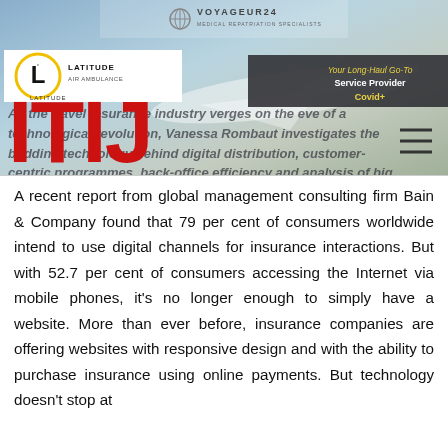[Figure (screenshot): Top banner with Voyageur24 logo, a private jet aircraft background image, Latitude Air Ambulance logo on left, dark strip on right with 'Your Long-Haul Go-To Service Provider Covid+' text, large red ITIJ letters overlaid, and introductory italic text about travel insurance technology revolution.]
As the travel insurance industry verges on the eve of a technological revolution, Vanessa Rombaut investigates the budding technology behind digital distribution, customer-centric programmes, back-office efficiency and analysis of big data
A recent report from global management consulting firm Bain & Company found that 79 per cent of consumers worldwide intend to use digital channels for insurance interactions. But with 52.7 per cent of consumers accessing the Internet via mobile phones, it’s no longer enough to simply have a website. More than ever before, insurance companies are offering websites with responsive design and with the ability to purchase insurance using online payments. But technology doesn’t stop at